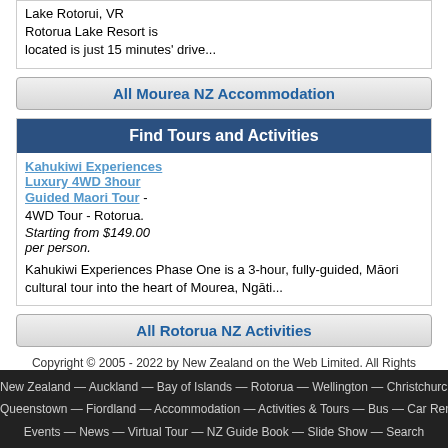Lake Rotorui, VR
Rotorua Lake Resort is located is just 15 minutes' drive...
All Mourea NZ Accommodation
Find Tours and Activities
Kahukiwi Experiences Luxury 4WD 3hour Guided Maori Tour - 4WD Tour - Rotorua. Starting from $149.00 per person.

Kahukiwi Experiences Phase One is a 3-hour, fully-guided, Māori cultural tour into the heart of Mourea, Ngāti...
All Rotorua NZ Activities
Copyright © 2005 - 2022 by New Zealand on the Web Limited. All Rights Reserved.
New Zealand — Auckland — Bay of Islands — Rotorua — Wellington — Christchurch — Queenstown — Fiordland — Accommodation — Activities & Tours — Bus — Car Rental — Events — News — Virtual Tour — NZ Guide Book — Slide Show — Search